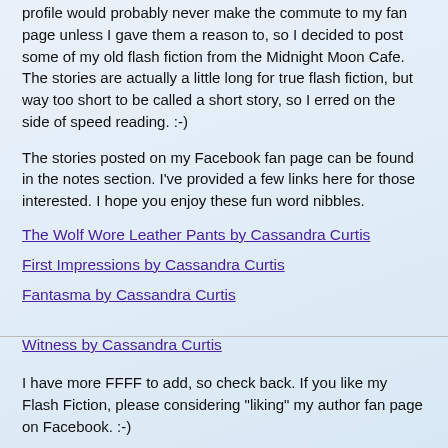profile would probably never make the commute to my fan page unless I gave them a reason to, so I decided to post some of my old flash fiction from the Midnight Moon Cafe. The stories are actually a little long for true flash fiction, but way too short to be called a short story, so I erred on the side of speed reading. :-)
The stories posted on my Facebook fan page can be found in the notes section. I've provided a few links here for those interested. I hope you enjoy these fun word nibbles.
The Wolf Wore Leather Pants by Cassandra Curtis
First Impressions by Cassandra Curtis
Fantasma by Cassandra Curtis
Witness by Cassandra Curtis
I have more FFFF to add, so check back. If you like my Flash Fiction, please considering "liking" my author fan page on Facebook. :-)